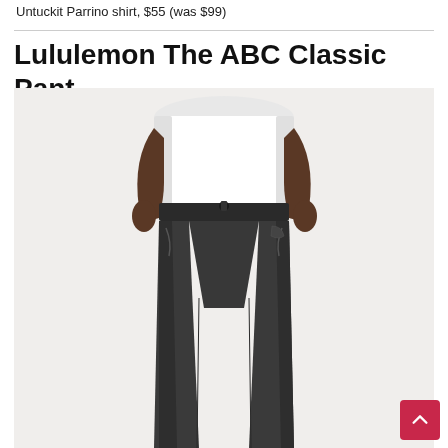Untuckit Parrino shirt, $55 (was $99)
Lululemon The ABC Classic Pant
[Figure (photo): A man from mid-torso to ankles wearing dark charcoal grey slim-fit pants and a white t-shirt, hands at sides, against a light background.]